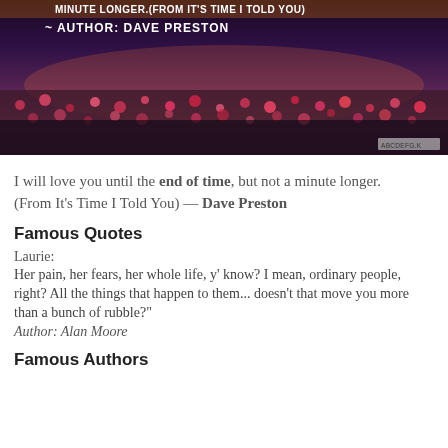[Figure (photo): Photo of a flower field (tulips) at dusk with overlaid text: 'MINUTE LONGER.(FROM IT'S TIME I TOLD YOU)' and 'AUTHOR: DAVE PRESTON'. Small watermark in bottom right corner.]
I will love you until the end of time, but not a minute longer.
(From It's Time I Told You) — Dave Preston
Famous Quotes
Laurie:
Her pain, her fears, her whole life, y' know? I mean, ordinary people, right? All the things that happen to them... doesn't that move you more than a bunch of rubble?"
Author: Alan Moore
Famous Authors